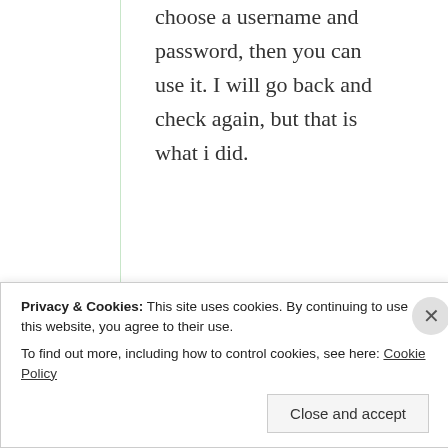choose a username and password, then you can use it. I will go back and check again, but that is what i did.
★ Liked by 2 people
myraho78
2016-02-11 at 5:38
Privacy & Cookies: This site uses cookies. By continuing to use this website, you agree to their use. To find out more, including how to control cookies, see here: Cookie Policy
Close and accept